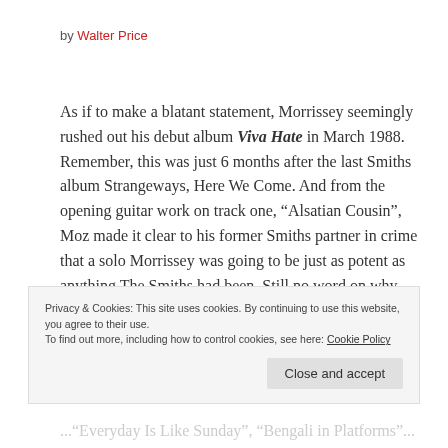by Walter Price
As if to make a blatant statement, Morrissey seemingly rushed out his debut album Viva Hate in March 1988. Remember, this was just 6 months after the last Smiths album Strangeways, Here We Come. And from the opening guitar work on track one, “Alsatian Cousin”, Moz made it clear to his former Smiths partner in crime that a solo Morrissey was going to be just as potent as anything The Smiths had been. Still no word on why that track in
Privacy & Cookies: This site uses cookies. By continuing to use this website, you agree to their use. To find out more, including how to control cookies, see here: Cookie Policy
Close and accept
...